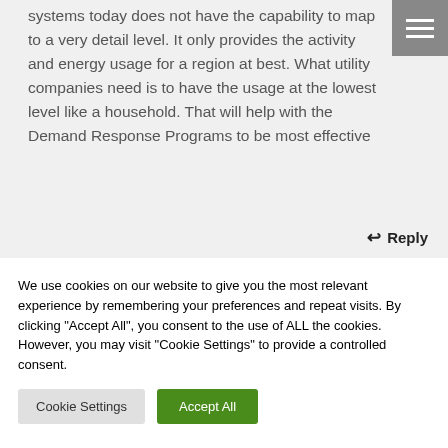systems today does not have the capability to map to a very detail level. It only provides the activity and energy usage for a region at best. What utility companies need is to have the usage at the lowest level like a household. That will help with the Demand Response Programs to be most effective
↩ Reply
We use cookies on our website to give you the most relevant experience by remembering your preferences and repeat visits. By clicking "Accept All", you consent to the use of ALL the cookies. However, you may visit "Cookie Settings" to provide a controlled consent.